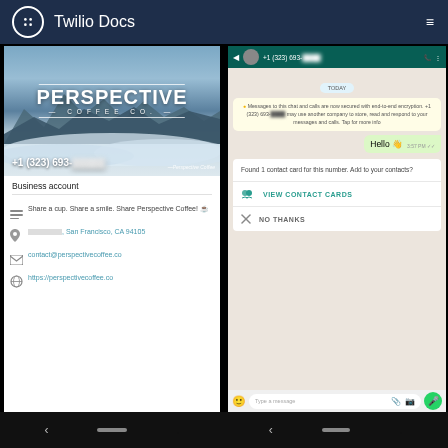Twilio Docs
[Figure (screenshot): Left phone screenshot showing WhatsApp Business profile for Perspective Coffee Co. with phone number +1 (323) 693-XXXX, mountain landscape hero image, business account info including description, address (San Francisco, CA 94105), email (contact@perspectivecoffee.co), and website (https://perspectivecoffee.co)]
[Figure (screenshot): Right phone screenshot showing WhatsApp chat with +1 (323) 693-XXXX, with security notice, a 'Hello' message sent at 3:57 PM, and contact card suggestion with VIEW CONTACT CARDS and NO THANKS options, plus message input bar at bottom]